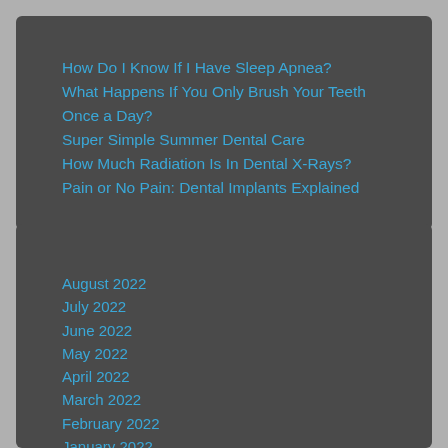How Do I Know If I Have Sleep Apnea?
What Happens If You Only Brush Your Teeth Once a Day?
Super Simple Summer Dental Care
How Much Radiation Is In Dental X-Rays?
Pain or No Pain: Dental Implants Explained
August 2022
July 2022
June 2022
May 2022
April 2022
March 2022
February 2022
January 2022
December 2021